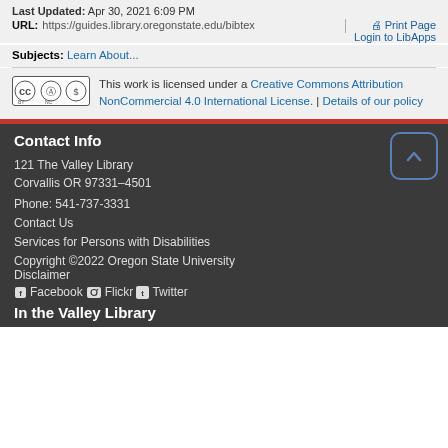Last Updated: Apr 30, 2021 6:09 PM
URL: https://guides.library.oregonstate.edu/bibtex | Print Page Login to LibApps
Subjects: Learn About...
[Figure (logo): Creative Commons BY NC license badge]
This work is licensed under a Creative Commons Attribution NonCommercial 4.0 International License. | Details of our policy
Contact Info
121 The Valley Library
Corvallis OR 97331–4501
Phone: 541-737-3331
Contact Us
Services for Persons with Disabilities
Copyright ©2022 Oregon State University
Disclaimer
Facebook Flickr Twitter
In the Valley Library